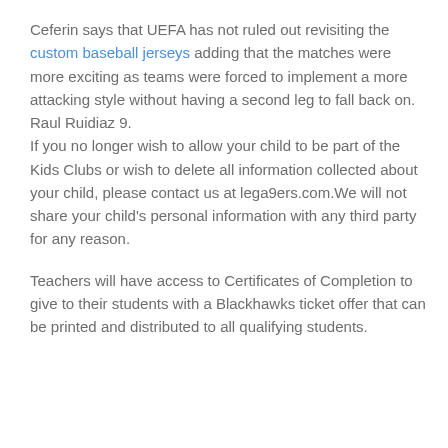Ceferin says that UEFA has not ruled out revisiting the custom baseball jerseys adding that the matches were more exciting as teams were forced to implement a more attacking style without having a second leg to fall back on.
Raul Ruidiaz 9.
If you no longer wish to allow your child to be part of the Kids Clubs or wish to delete all information collected about your child, please contact us at lega9ers.com.We will not share your child's personal information with any third party for any reason.
Teachers will have access to Certificates of Completion to give to their students with a Blackhawks ticket offer that can be printed and distributed to all qualifying students.